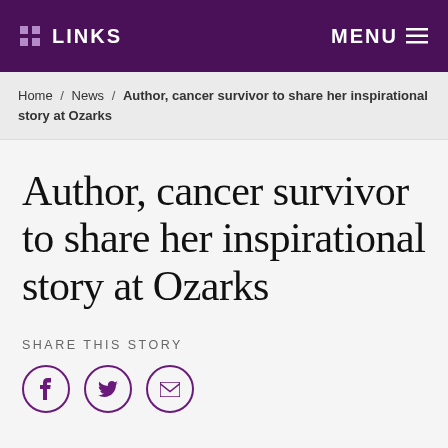LINKS  MENU
Home / News / Author, cancer survivor to share her inspirational story at Ozarks
Author, cancer survivor to share her inspirational story at Ozarks
SHARE THIS STORY
[Figure (other): Social share icons: Facebook, Twitter, Email]